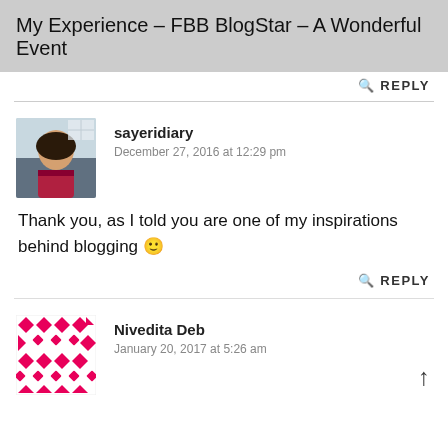My Experience – FBB BlogStar – A Wonderful Event
REPLY
sayeridiary
December 27, 2016 at 12:29 pm
Thank you, as I told you are one of my inspirations behind blogging 🙂
REPLY
Nivedita Deb
January 20, 2017 at 5:26 am